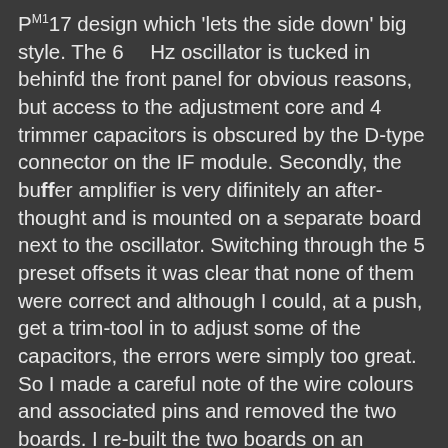P**1_17 design which 'lets the side down' big style. The 6_Hz oscillator is tucked in behinfd the front panel for obvious reasons, but access to the adjustment core and 4 trimmer capacitors is obscured by the D-type connector on the IF module. Secondly, the buffer amplifier is very difinitely an after-thought and is mounted on a separate board next to the oscillator. Switching through the 5 preset offsets it was clear that none of them were correct and although I could, at a push, get a trim-tool in to adjust some of the capacitors, the errors were simply too great. So I made a careful note of the wire colours and associated pins and removed the two boards. I re-built the two boards on an external chassis complete with a suitable variable capacitor. To my amusement, it looked like someone had used a drill-bit rather than a trim tool on the oscillator core ... The slot was non-existent! When I refitted the two boards into the set, the frequencies were understandably different, due to wire lengths and general proximity issues. However, as before, the trimmer capacitors did not appear to be having the desired effect.